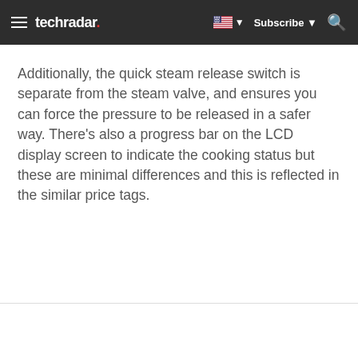techradar — Subscribe
Additionally, the quick steam release switch is separate from the steam valve, and ensures you can force the pressure to be released in a safer way. There's also a progress bar on the LCD display screen to indicate the cooking status but these are minimal differences and this is reflected in the similar price tags.